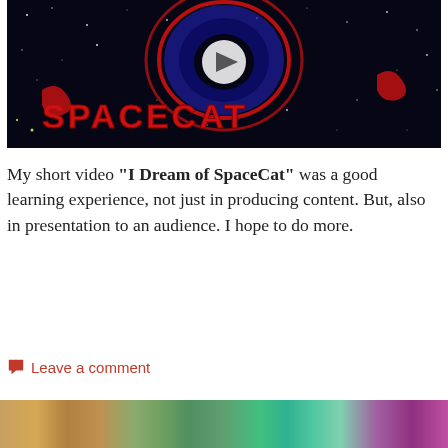[Figure (screenshot): Video thumbnail for 'I Dream of SpaceCat' showing stylized red text 'SPACECAT' on a dark starry space background with a play button in the center]
My short video “I Dream of SpaceCat” was a good learning experience, not just in producing content. But, also in presentation to an audience. I hope to do more.
Leave a comment
[Figure (photo): Partial bottom image strip showing colorful close-up imagery]